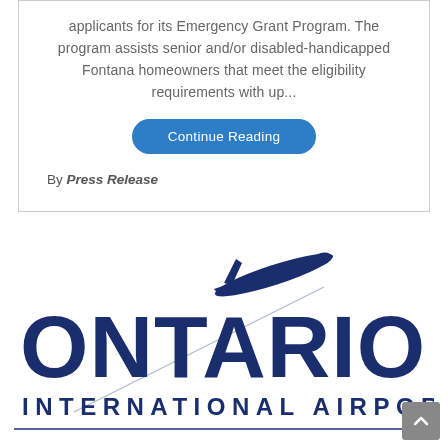applicants for its Emergency Grant Program. The program assists senior and/or disabled-handicapped Fontana homeowners that meet the eligibility requirements with up...
Continue Reading
By Press Release
[Figure (logo): Ontario International Airport logo with airplane silhouette above large text ONTARIO and INTERNATIONAL AIRPORT below in dark navy blue]